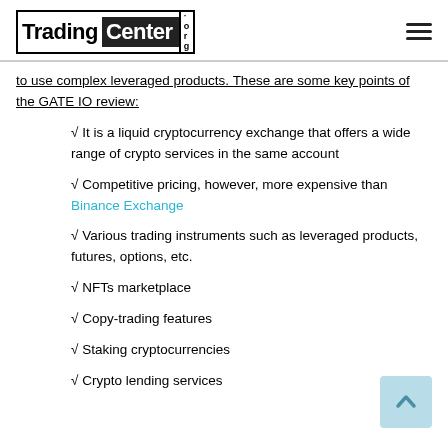TradingCenter.org
to use complex leveraged products. These are some key points of the GATE IO review:
√ It is a liquid cryptocurrency exchange that offers a wide range of crypto services in the same account
√ Competitive pricing, however, more expensive than Binance Exchange
√ Various trading instruments such as leveraged products, futures, options, etc.
√ NFTs marketplace
√ Copy-trading features
√ Staking cryptocurrencies
√ Crypto lending services